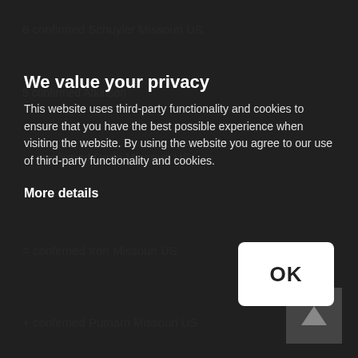6 confirmed Schuyler Missouri US
5 confirmed Atchison
We value your privacy
This website uses third-party functionality and cookies to ensure that you have the best possible experience when visiting the website. By using the website you agree to our use of third-party functionality and cookies.
4 confirmed Dade Missouri US
More details
4 confirmed Iron Missouri US
[Figure (screenshot): OK button - white rounded rectangle with bold OK text]
[Figure (other): Dark arrow/navigation box in bottom right corner]
4 confirmed Putnam Missouri US